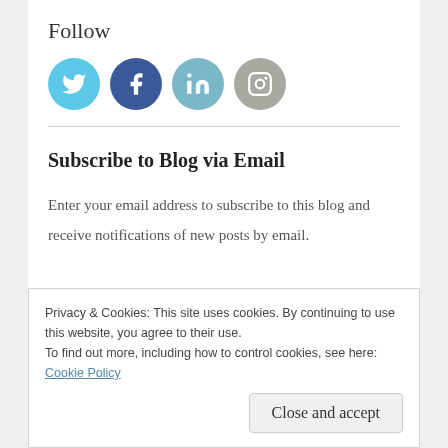Follow
[Figure (illustration): Four circular social media icons: Twitter (light blue), Facebook (dark blue), LinkedIn (teal/medium blue), Instagram (grey)]
Subscribe to Blog via Email
Enter your email address to subscribe to this blog and receive notifications of new posts by email.
Privacy & Cookies: This site uses cookies. By continuing to use this website, you agree to their use. To find out more, including how to control cookies, see here: Cookie Policy
Close and accept